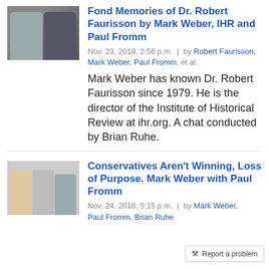Fond Memories of Dr. Robert Faurisson by Mark Weber, IHR and Paul Fromm
Nov. 23, 2018, 2:56 p.m. | by Robert Faurisson, Mark Weber, Paul Fromm, et al.
Mark Weber has known Dr. Robert Faurisson since 1979. He is the director of the Institute of Historical Review at ihr.org. A chat conducted by Brian Ruhe.
[Figure (photo): Thumbnail photo showing two men standing together]
Conservatives Aren't Winning, Loss of Purpose. Mark Weber with Paul Fromm
Nov. 24, 2018, 5:15 p.m. | by Mark Weber, Paul Fromm, Brian Ruhe
[Figure (photo): Thumbnail photo showing three men]